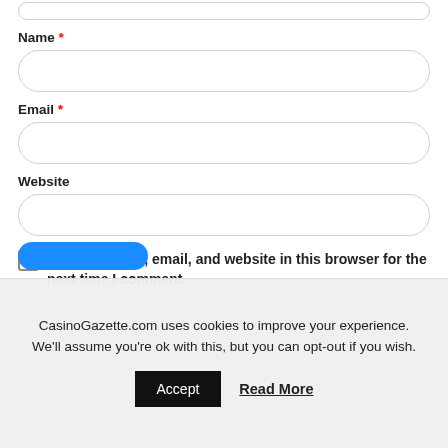[input field]
Name *
[input field]
Email *
[input field]
Website
[input field]
Save my name, email, and website in this browser for the next time I comment.
CasinoGazette.com uses cookies to improve your experience. We'll assume you're ok with this, but you can opt-out if you wish.
Accept
Read More